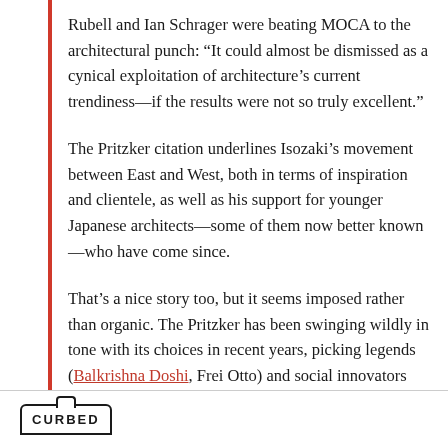Rubell and Ian Schrager were beating MOCA to the architectural punch: “It could almost be dismissed as a cynical exploitation of architecture’s current trendiness—if the results were not so truly excellent.”
The Pritzker citation underlines Isozaki’s movement between East and West, both in terms of inspiration and clientele, as well as his support for younger Japanese architects—some of them now better known—who have come since.
That’s a nice story too, but it seems imposed rather than organic. The Pritzker has been swinging wildly in tone with its choices in recent years, picking legends (Balkrishna Doshi, Frei Otto) and social innovators
CURBED